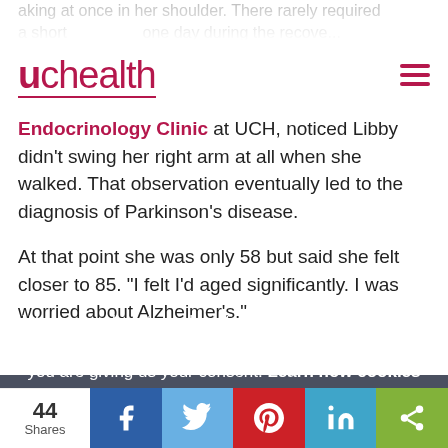uchealth
aking at once in her shoulder. There rarely required a short one day during the recove... Mike... director at the Diabetes and Endocrinology Clinic at UCH, noticed Libby didn't swing her right arm at all when she walked. That observation eventually led to the diagnosis of Parkinson's disease.
At that point she was only 58 but said she felt closer to 85. “I felt I’d aged significantly. I was worried about Alzheimer’s.”
We use cookies to make interactions with our website easy and meaningful. By continuing to use this site you are giving us your consent. Learn how cookies are used on our site.
Accept terms
44 Shares